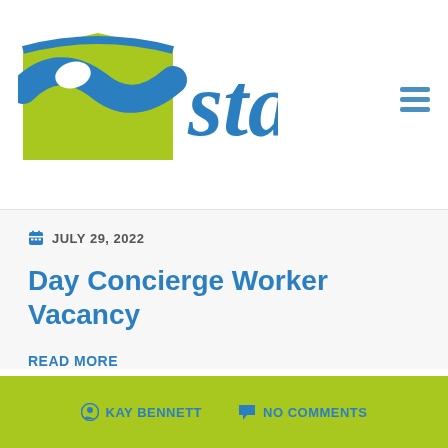[Figure (logo): Stay organization logo with green house shape and blue 'stay' text in handwritten style]
JULY 29, 2022
Day Concierge Worker Vacancy
READ MORE
KAY BENNETT   NO COMMENTS